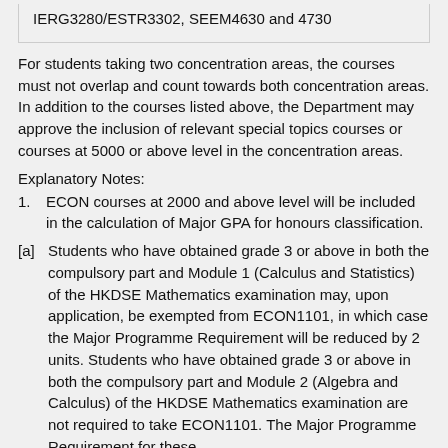IERG3280/ESTR3302, SEEM4630 and 4730
For students taking two concentration areas, the courses must not overlap and count towards both concentration areas. In addition to the courses listed above, the Department may approve the inclusion of relevant special topics courses or courses at 5000 or above level in the concentration areas.
Explanatory Notes:
ECON courses at 2000 and above level will be included in the calculation of Major GPA for honours classification.
[a] Students who have obtained grade 3 or above in both the compulsory part and Module 1 (Calculus and Statistics) of the HKDSE Mathematics examination may, upon application, be exempted from ECON1101, in which case the Major Programme Requirement will be reduced by 2 units. Students who have obtained grade 3 or above in both the compulsory part and Module 2 (Algebra and Calculus) of the HKDSE Mathematics examination are not required to take ECON1101. The Major Programme Requirement for these